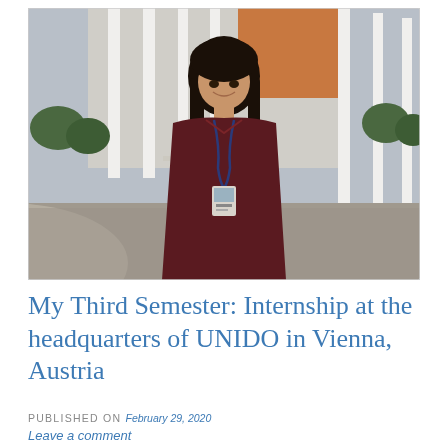[Figure (photo): A young woman with long dark hair wearing a dark maroon/burgundy blouse and a lanyard with an ID badge, smiling at the camera. She is standing outside in front of a large modern building with white vertical columns and orange/red architectural elements, likely the UNIDO headquarters in Vienna, Austria. The foreground shows a curved paved plaza area.]
My Third Semester: Internship at the headquarters of UNIDO in Vienna, Austria
PUBLISHED ON February 29, 2020
Leave a comment